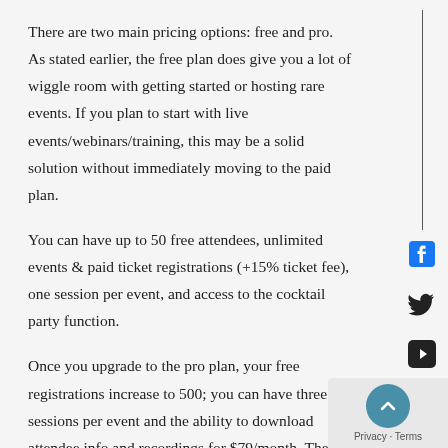There are two main pricing options: free and pro. As stated earlier, the free plan does give you a lot of wiggle room with getting started or hosting rare events. If you plan to start with live events/webinars/training, this may be a solid solution without immediately moving to the paid plan.
You can have up to 50 free attendees, unlimited events & paid ticket registrations (+15% ticket fee), one session per event, and access to the cocktail party function.
Once you upgrade to the pro plan, your free registrations increase to 500; you can have three sessions per event and the ability to download attendee info and recordings for $79/month. Then if you require more, you can contact them for a business plan which gives you custom branding, advanced analytics, and more.